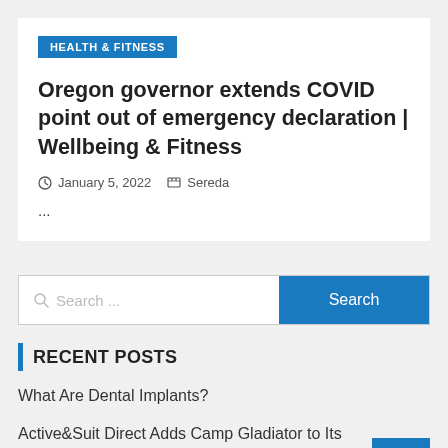HEALTH & FITNESS
Oregon governor extends COVID point out of emergency declaration | Wellbeing & Fitness
January 5, 2022   Sereda
...
Search ...
RECENT POSTS
What Are Dental Implants?
Active&Suit Direct Adds Camp Gladiator to Its Network of 16,000+ Fitness Facilities, Training Studios, and